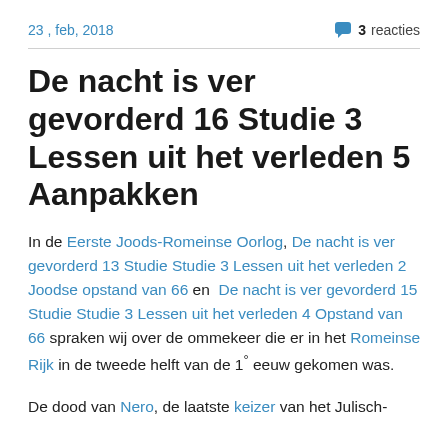23 , feb, 2018   3 reacties
De nacht is ver gevorderd 16 Studie 3 Lessen uit het verleden 5 Aanpakken
In de Eerste Joods-Romeinse Oorlog, De nacht is ver gevorderd 13 Studie Studie 3 Lessen uit het verleden 2 Joodse opstand van 66 en  De nacht is ver gevorderd 15 Studie Studie 3 Lessen uit het verleden 4 Opstand van 66 spraken wij over de ommekeer die er in het Romeinse Rijk in de tweede helft van de 1° eeuw gekomen was.
De dood van Nero, de laatste keizer van het Julisch-